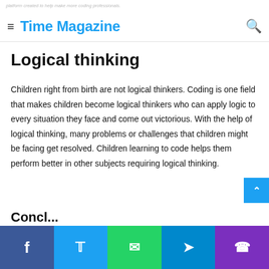platform created to help make more coding professionals.
Time Magazine
Logical thinking
Children right from birth are not logical thinkers. Coding is one field that makes children become logical thinkers who can apply logic to every situation they face and come out victorious. With the help of logical thinking, many problems or challenges that children might be facing get resolved. Children learning to code helps them perform better in other subjects requiring logical thinking.